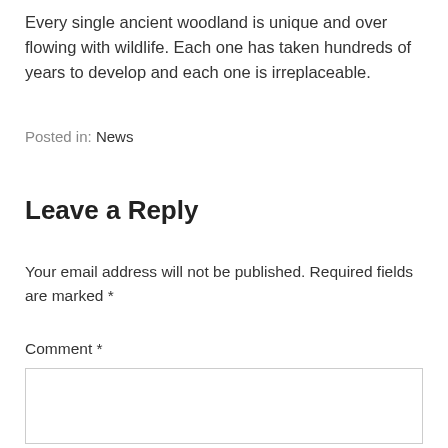Every single ancient woodland is unique and over flowing with wildlife. Each one has taken hundreds of years to develop and each one is irreplaceable.
Posted in: News
Leave a Reply
Your email address will not be published. Required fields are marked *
Comment *